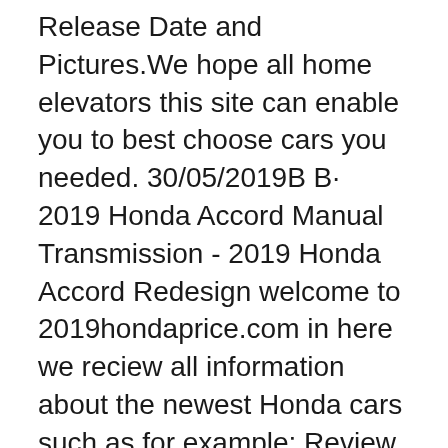Release Date and Pictures.We hope all home elevators this site can enable you to best choose cars you needed. 30/05/2019B B· 2019 Honda Accord Manual Transmission - 2019 Honda Accord Redesign welcome to 2019hondaprice.com in here we reciew all information about the newest Honda cars such as for example: Review, Specification, Redesign , Interior , Exterior , Price , Rumor, Concept, Release Date and Pictures.We hope all home elevators this site can enable you to best choose cars you needed.
11/09/2017B B· So does the 2018 Honda Civic Hatchback offer a manual transmission? Honda Civic Hatchback...